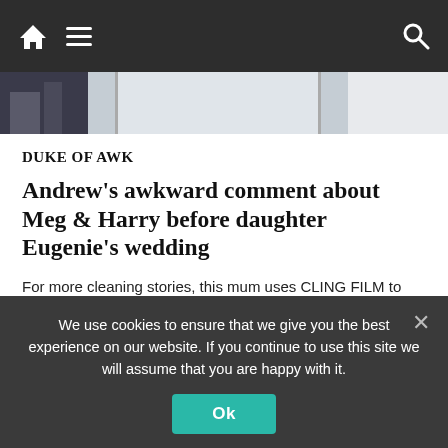Navigation bar with home, menu, and search icons
[Figure (photo): Partial photo strip showing people in formal wear, appears to be a news article image]
DUKE OF AWK
Andrew's awkward comment about Meg & Harry before daughter Eugenie's wedding
For more cleaning stories, this mum uses CLING FILM to get her grimy oven sparkling clean & swears it cuts down on scrubbing too.
And this desperate woman asked for help after husband mistakes ironing spray for Febreze leaving
We use cookies to ensure that we give you the best experience on our website. If you continue to use this site we will assume that you are happy with it.